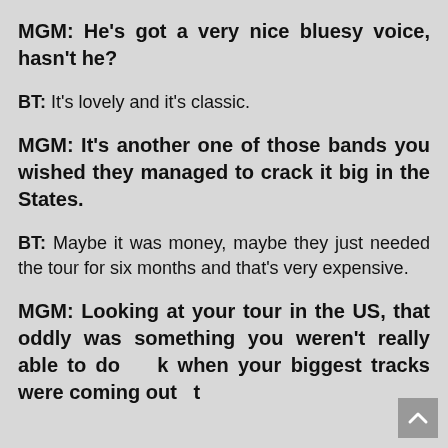MGM: He's got a very nice bluesy voice, hasn't he?
BT: It's lovely and it's classic.
MGM: It's another one of those bands you wished they managed to crack it big in the States.
BT: Maybe it was money, maybe they just needed the tour for six months and that's very expensive.
MGM: Looking at your tour in the US, that oddly was something you weren't really able to do k when your biggest tracks were coming out but